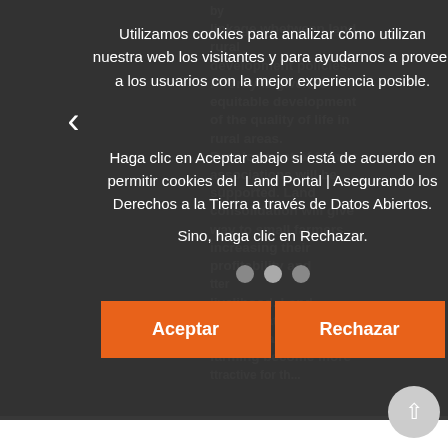linkage wbetween land rural development policies. Priority is given to equitable development of the quality of life in rural areas. Development of farmer associations will be supported. Land consolidation will give way to small farmers increasing their profitability and better livelihood. Land consolidation will also make rural areas and farming become more attractive for th...
Utilizamos cookies para analizar cómo utilizan nuestra web los visitantes y para ayudarnos a proveer a los usuarios con la mejor experiencia posible.
Haga clic en Aceptar abajo si está de acuerdo en permitir cookies del Land Portal | Asegurando los Derechos a la Tierra a través de Datos Abiertos.
Sino, haga clic en Rechazar.